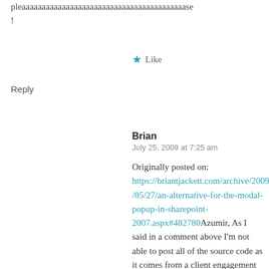pleaaaaaaaaaaaaaaaaaaaaaaaaaaaaaaaaaaaaaaaaase!
★ Like
Reply
Brian
July 25, 2009 at 7:25 am
Originally posted on: https://briantjackett.com/archive/2009/05/27/an-alternative-for-the-modal-popup-in-sharepoint-2007.aspx#482780Azumir, As I said in a comment above I'm not able to post all of the source code as it comes from a client engagement I'm working on. The two functions that you mentioned are